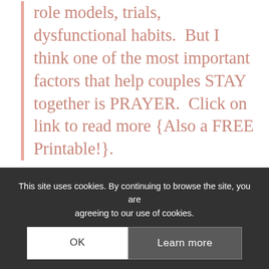role models, trials, dysfunctional habits.  But I think one of the most important factors that help couples STAY together is PRAYER.  Click on link to read more {Also a FREE Printable!}.
These top posts remind me how important it is to depend on God, stay near to him to prevent broken cycles of prayer and how important it is to pray for our relationships.  I personally need to stay accountable and be disciplined and intentional in my prayer life or relationships.
I hope and pray these posts can be a reminder to make prayer a daily habit and help us to be intentional, to allow God's plans to be the greater
This site uses cookies. By continuing to browse the site, you are agreeing to our use of cookies.